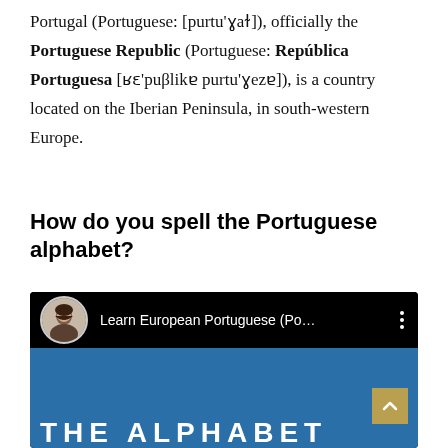Portugal (Portuguese: [purtu'ɣaɫ]), officially the Portuguese Republic (Portuguese: República Portuguesa [ʁɛ'puβlikɐ purtu'ɣezɐ]), is a country located on the Iberian Peninsula, in south-western Europe.
How do you spell the Portuguese alphabet?
[Figure (screenshot): YouTube video thumbnail showing a video titled 'Learn European Portuguese (Po...' with a circular avatar photo of a woman on the left, three vertical dots menu on the right, and a blue background video frame below with partial white text at the bottom reading 'THE ALPHABET'. A golden scroll-to-top button appears in the lower right.]